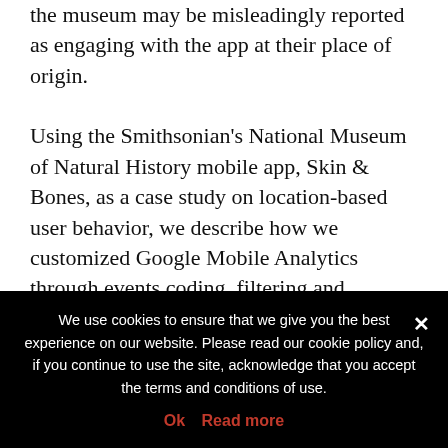the museum may be misleadingly reported as engaging with the app at their place of origin.

Using the Smithsonian's National Museum of Natural History mobile app, Skin & Bones, as a case study on location-based user behavior, we describe how we customized Google Mobile Analytics through events coding, filtering and segmentation analysis to retrieve accurate location data, which allowed us to compare app sessions
We use cookies to ensure that we give you the best experience on our website. Please read our cookie policy and, if you continue to use the site, acknowledge that you accept the terms and conditions of use.
Ok   Read more